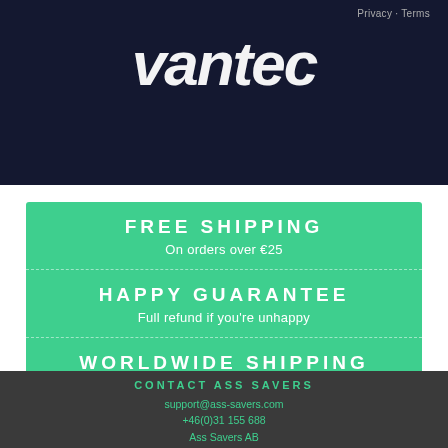[Figure (screenshot): Dark navy background with white bold logo text partially visible (ass savers brand), Privacy - Terms link in top right]
Privacy - Terms
FREE SHIPPING
On orders over €25
HAPPY GUARANTEE
Full refund if you're unhappy
WORLDWIDE SHIPPING
3.50€ - To almost everywhere!
CONTACT ASS SAVERS
support@ass-savers.com
+46(0)31 155 688
Ass Savers AB
Sockerbruket 9
414 51 Göteborg